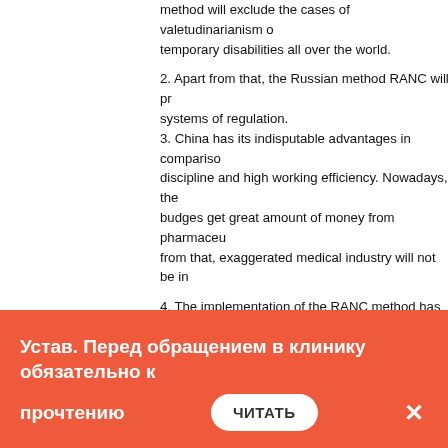method will exclude the cases of valetudinarianism and temporary disabilities all over the world.
2. Apart from that, the Russian method RANC will provide systems of regulation.
3. China has its indisputable advantages in comparison with discipline and high working efficiency. Nowadays, the budges get great amount of money from pharmaceutical from that, exaggerated medical industry will not be in
4. The implementation of the RANC method has several
1. besides from making changes in standards of me
2. centralized control will make it possible to impleme
3. the transfer of income from the state budget to eco
4. Decrease of sickness rate will lead to increase in
Now we can compare possible losses of Chinese ph disability and general sickness rate.
Advantages from such innovation are obvious espe very fast. Perhaps, we will follow their example and
Устав. Перед обращением в клинику обязательно к прочтению